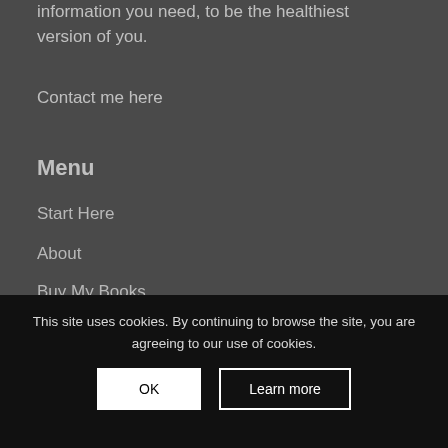information you need, to be the healthiest version of you.
Contact me here
Menu
Start Here
About
Buy My Books
Recipes
Weight Loss
Shop
Contact
This site uses cookies. By continuing to browse the site, you are agreeing to our use of cookies.
OK
Learn more